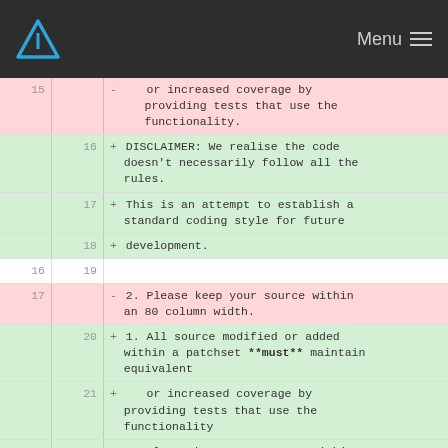Arch Linux logo and Menu
| old | new | diff content |
| --- | --- | --- |
| 15 |  | -    or increased coverage by providing tests that use the
     functionality. |
|  | 16 | + DISCLAIMER: We realise the code doesn't necessarily follow all the
  rules. |
|  | 17 | + This is an attempt to establish a
  standard coding style for future |
|  | 18 | + development. |
| 16 | 19 |  |
| 17 |  | - 2. Please keep your source within
  an 80 column width. |
|  | 20 | + 1. All source modified or added within a patchset **must** maintain equivalent |
|  | 21 | +    or increased coverage by providing tests that use the
     functionality |
|  | 22 | + 2. Please keep your source within
  an 80 column width |